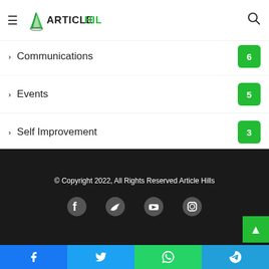ArticleHills
Investing 6
Communications 6
Events 5
Self Improvement 3
Relationships 2
© Copyright 2022, All Rights Reserved Article Hills